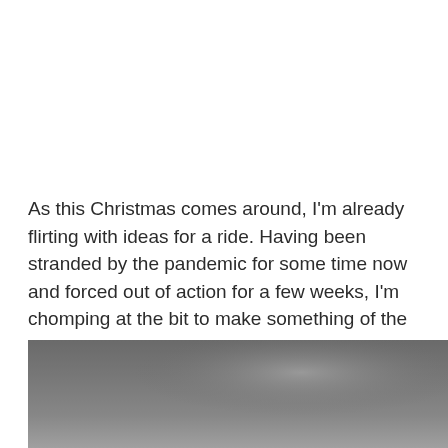As this Christmas comes around, I'm already flirting with ideas for a ride. Having been stranded by the pandemic for some time now and forced out of action for a few weeks, I'm chomping at the bit to make something of the day.
[Figure (photo): A dark grey, overcast sky or foggy outdoor scene — bottom portion of a photograph showing muted grey tones with slight brightness variation.]